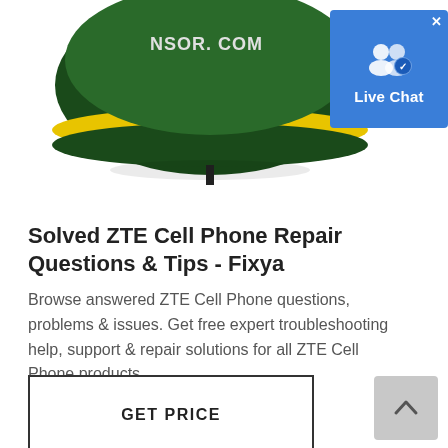[Figure (photo): Product photo of a circular sensor/device with green and yellow coloring, showing text 'NSOR.COM' on top, photographed from above on white background. A 'Live Chat' badge overlay is in the top-right corner with a blue background, white user icons, and 'Live Chat' text.]
Solved ZTE Cell Phone Repair Questions & Tips - Fixya
Browse answered ZTE Cell Phone questions, problems & issues. Get free expert troubleshooting help, support & repair solutions for all ZTE Cell Phone products.
GET PRICE
CHAT WITH WHATSAPP